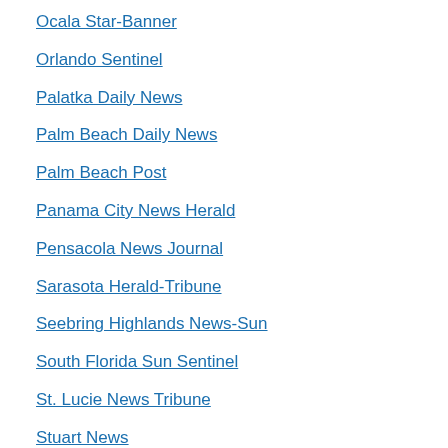Ocala Star-Banner
Orlando Sentinel
Palatka Daily News
Palm Beach Daily News
Palm Beach Post
Panama City News Herald
Pensacola News Journal
Sarasota Herald-Tribune
Seebring Highlands News-Sun
South Florida Sun Sentinel
St. Lucie News Tribune
Stuart News